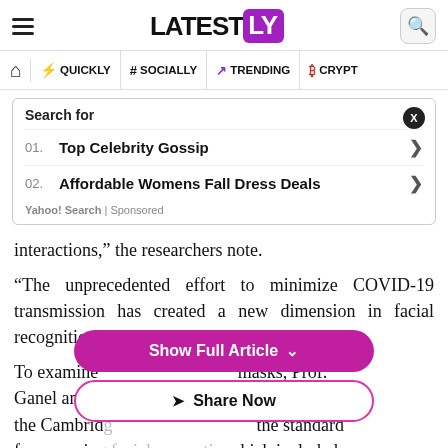LATESTLY
QUICKLY | # SOCIALLY | TRENDING | CRYPTO
Search for
01. Top Celebrity Gossip
02. Affordable Womens Fall Dress Deals
Yahoo! Search | Sponsored
interactions," the researchers note.
"The unprecedented effort to minimize COVID-19 transmission has created a new dimension in facial recognition due to mask-wearing."
To examine [Show Full Article] masks, Prof. Ganel and Prof. Freud used a modified version of the Cambridge [Share Now] the standard for assessing facial perception, which included